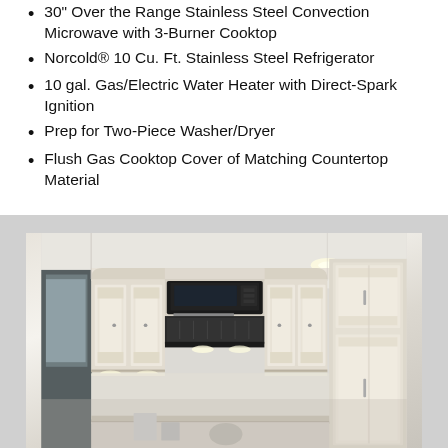30" Over the Range Stainless Steel Convection Microwave with 3-Burner Cooktop
Norcold® 10 Cu. Ft. Stainless Steel Refrigerator
10 gal. Gas/Electric Water Heater with Direct-Spark Ignition
Prep for Two-Piece Washer/Dryer
Flush Gas Cooktop Cover of Matching Countertop Material
[Figure (photo): Interior kitchen photo showing white/cream ornate upper cabinets with raised panel doors and decorative molding, a built-in over-the-range microwave oven (black/stainless), recessed lighting, and a tall pantry cabinet on the right. Countertop area visible at bottom.]